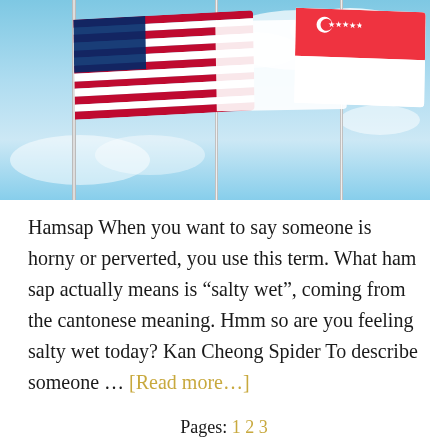[Figure (photo): Photograph of national flags waving on flagpoles against a blue sky with clouds. Visible flags include the United States flag on the left and the Singapore flag on the right, with a white flag partially visible in the center.]
Hamsap When you want to say someone is horny or perverted, you use this term. What ham sap actually means is “salty wet”, coming from the cantonese meaning. Hmm so are you feeling salty wet today? Kan Cheong Spider To describe someone … [Read more…]
Pages: 1 2 3